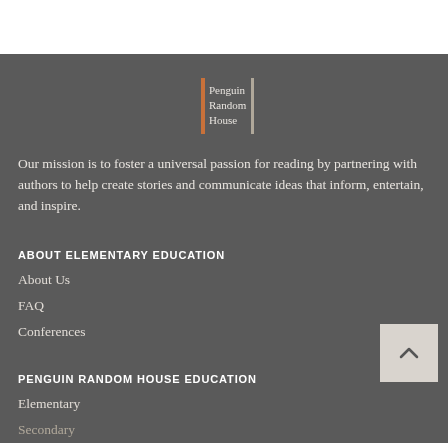[Figure (logo): Penguin Random House logo with orange vertical bar and white text]
Our mission is to foster a universal passion for reading by partnering with authors to help create stories and communicate ideas that inform, entertain, and inspire.
ABOUT ELEMENTARY EDUCATION
About Us
FAQ
Conferences
PENGUIN RANDOM HOUSE EDUCATION
Elementary
Secondary